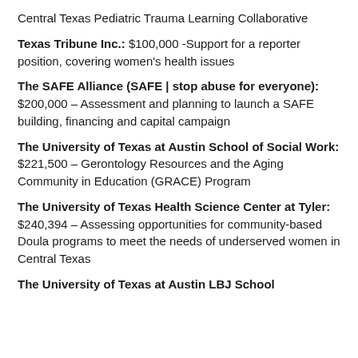Central Texas Pediatric Trauma Learning Collaborative
Texas Tribune Inc.: $100,000 -Support for a reporter position, covering women's health issues
The SAFE Alliance (SAFE | stop abuse for everyone): $200,000 – Assessment and planning to launch a SAFE building, financing and capital campaign
The University of Texas at Austin School of Social Work: $221,500 – Gerontology Resources and the Aging Community in Education (GRACE) Program
The University of Texas Health Science Center at Tyler: $240,394 – Assessing opportunities for community-based Doula programs to meet the needs of underserved women in Central Texas
The University of Texas at Austin LBJ School